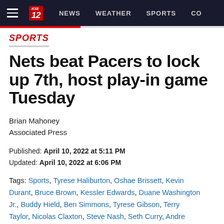NEWS  WEATHER  SPORTS  CO
SPORTS
Nets beat Pacers to lock up 7th, host play-in game Tuesday
Brian Mahoney
Associated Press
Published: April 10, 2022 at 5:11 PM
Updated: April 10, 2022 at 6:06 PM
Tags: Sports, Tyrese Haliburton, Oshae Brissett, Kevin Durant, Bruce Brown, Kessler Edwards, Duane Washington Jr., Buddy Hield, Ben Simmons, Tyrese Gibson, Terry Taylor, Nicolas Claxton, Steve Nash, Seth Curry, Andre Drummond, Gorar…